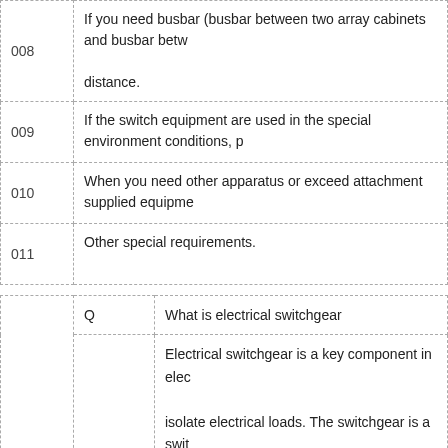| # | Description |
| --- | --- |
| 008 | If you need busbar (busbar between two array cabinets and busbar betw... distance. |
| 009 | If the switch equipment are used in the special environment conditions, p... |
| 010 | When you need other apparatus or exceed attachment supplied equipme... |
| 011 | Other special requirements. |
| # | Q/A | Content |
| --- | --- | --- |
|  | Q | What is electrical switchgear |
| 001 | A | Electrical switchgear is a key component in elec... isolate electrical loads. The switchgear is a swit... breakers, protective and controlling devices whi... maintenance period, or to connect the same in ... |